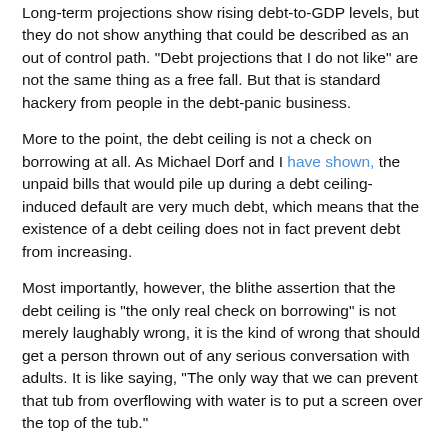Long-term projections show rising debt-to-GDP levels, but they do not show anything that could be described as an out of control path.  "Debt projections that I do not like" are not the same thing as a free fall.  But that is standard hackery from people in the debt-panic business.
More to the point, the debt ceiling is not a check on borrowing at all.  As Michael Dorf and I have shown, the unpaid bills that would pile up during a debt ceiling-induced default are very much debt, which means that the existence of a debt ceiling does not in fact prevent debt from increasing.
Most importantly, however, the blithe assertion that the debt ceiling is "the only real check on borrowing" is not merely laughably wrong, it is the kind of wrong that should get a person thrown out of any serious conversation with adults.  It is like saying, "The only way that we can prevent that tub from overflowing with water is to put a screen over the top of the tub."
The fact is that Congress's Article I power of the purse is the real check on borrowing.  We will always borrow as much as...